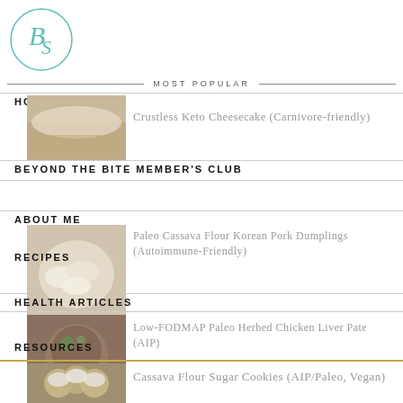[Figure (logo): Circular logo with stylized letters B and S in teal/mint color with decorative flourishes]
MOST POPULAR
HOME
[Figure (photo): Food photo - cheesecake, beige/cream tones]
Crustless Keto Cheesecake (Carnivore-friendly)
BEYOND THE BITE MEMBER'S CLUB
ABOUT ME
[Figure (photo): Food photo - dumplings on a white plate]
Paleo Cassava Flour Korean Pork Dumplings (Autoimmune-Friendly)
RECIPES
HEALTH ARTICLES
[Figure (photo): Food photo - herbed chicken liver pate in a bowl with herbs on top]
Low-FODMAP Paleo Herbed Chicken Liver Pate (AIP)
RESOURCES
[Figure (photo): Food photo - cassava flour sugar cookies with white frosting]
Cassava Flour Sugar Cookies (AIP/Paleo, Vegan)